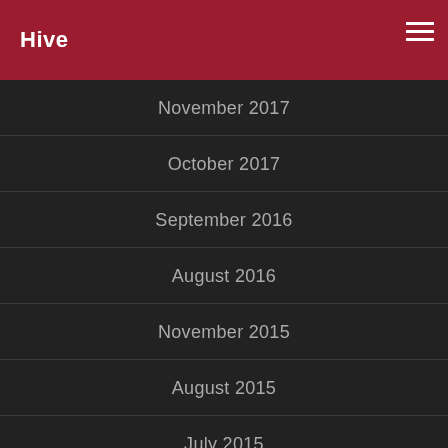Hive
November 2017
October 2017
September 2016
August 2016
November 2015
August 2015
July 2015
June 2015
November 2014
August 2014